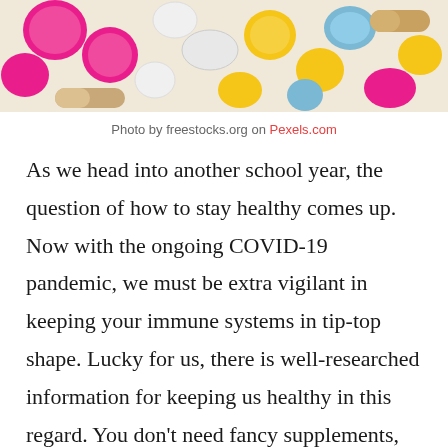[Figure (photo): Colorful assorted pills and tablets spread out on a surface — pink, white, yellow, blue, orange, and beige capsules]
Photo by freestocks.org on Pexels.com
As we head into another school year, the question of how to stay healthy comes up. Now with the ongoing COVID-19 pandemic, we must be extra vigilant in keeping your immune systems in tip-top shape. Lucky for us, there is well-researched information for keeping us healthy in this regard. You don't need fancy supplements, or herbs or anything like that. It's actually quite simple. Follow this recipe and you will keep your immune system in tip-top shape as we